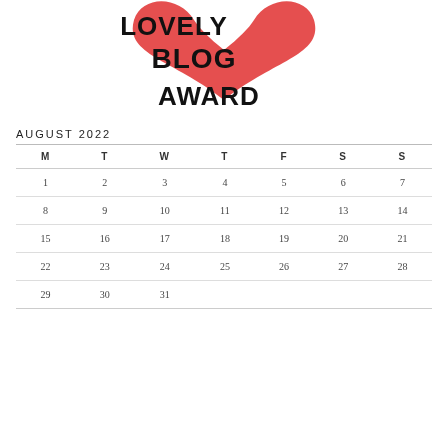[Figure (illustration): Lovely Blog Award logo: large red heart shape behind bold text reading LOVELY BLOG AWARD in a hand-lettered/display font]
| M | T | W | T | F | S | S |
| --- | --- | --- | --- | --- | --- | --- |
| 1 | 2 | 3 | 4 | 5 | 6 | 7 |
| 8 | 9 | 10 | 11 | 12 | 13 | 14 |
| 15 | 16 | 17 | 18 | 19 | 20 | 21 |
| 22 | 23 | 24 | 25 | 26 | 27 | 28 |
| 29 | 30 | 31 |  |  |  |  |